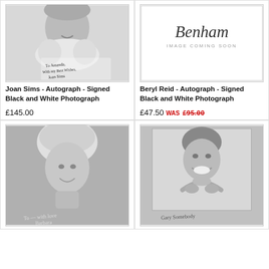[Figure (photo): Black and white signed photograph of Joan Sims with handwritten autograph reading 'To Amanda, With my Best Wishes, Joan Sims']
Joan Sims - Autograph - Signed Black and White Photograph
£145.00
[Figure (photo): Benham placeholder image with 'Benham IMAGE COMING SOON' text]
Beryl Reid - Autograph - Signed Black and White Photograph
£47.50 WAS £95.00
[Figure (photo): Black and white signed photograph of a blonde woman smiling with autograph at bottom]
[Figure (photo): Black and white signed photograph of a smiling man with hands clasped under chin with autograph at bottom]